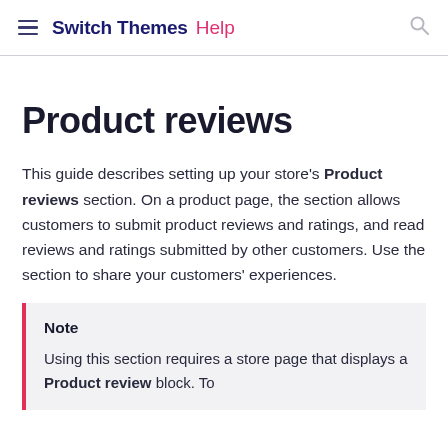Switch Themes Help
Product reviews
This guide describes setting up your store's Product reviews section. On a product page, the section allows customers to submit product reviews and ratings, and read reviews and ratings submitted by other customers. Use the section to share your customers' experiences.
Note
Using this section requires a store page that displays a Product review block. To